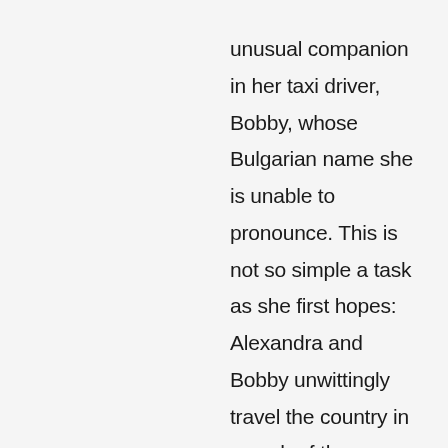unusual companion in her taxi driver, Bobby, whose Bulgarian name she is unable to pronounce. This is not so simple a task as she first hopes: Alexandra and Bobby unwittingly travel the country in search of the Lazarov family, learning long the way of Stovan's life as a musician and as a member of a communist labour camp; the brutality of political dissent, and how the past can shape the future in so many subtle ways.